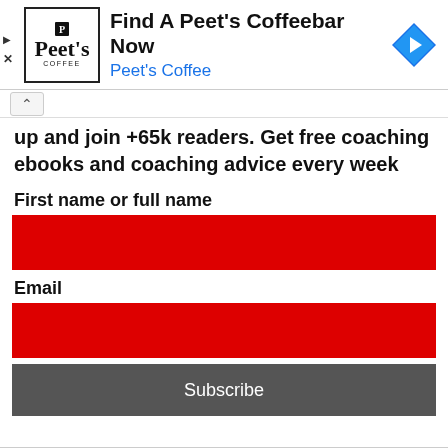[Figure (screenshot): Peet's Coffee advertisement banner with logo, text 'Find A Peet's Coffeebar Now', subtitle 'Peet's Coffee' in blue, and a navigation arrow icon on the right. Play and close buttons on the left.]
Sign up and join +65k readers. Get free coaching ebooks and coaching advice every week
First name or full name
Email
Subscribe